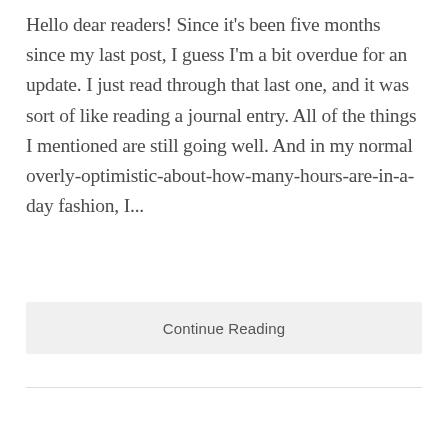Hello dear readers! Since it's been five months since my last post, I guess I'm a bit overdue for an update. I just read through that last one, and it was sort of like reading a journal entry. All of the things I mentioned are still going well. And in my normal overly-optimistic-about-how-many-hours-are-in-a-day fashion, I...
Continue Reading